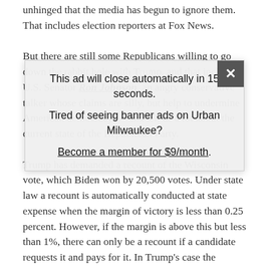unhinged that the media has begun to ignore them. That includes election reporters at Fox News.
But there are still some Republicans willing to go down the rabbit hole with Trump, and that includes U.S. Senator Ron Johnson, an angry conservative talker whose claims are silly, but help to undermine American democracy — and tell us a lot about the current state of the Republican Party.
Trump has demanded a recount of the Wisconsin vote, which Biden won by 20,500 votes. Under state law a recount is automatically conducted at state expense when the margin of victory is less than 0.25 percent. However, if the margin is above this but less than 1%, there can only be a recount if a candidate requests it and pays for it. In Trump's case the margin is about 0.6% so he will have to pay the costs, which were estimated to be about $3.5 million for Green Party candidate Jill Stein, who requested and paid for a recount after the 2016 election.
It's far from clear Trump believes he has any chance of
This ad will close automatically in 15 seconds.
Tired of seeing banner ads on Urban Milwaukee?
Become a member for $9/month.